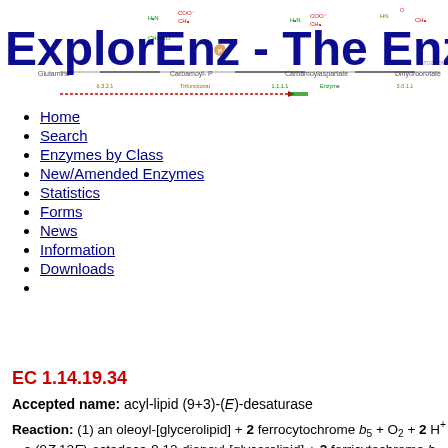[Figure (illustration): ExplorEnz website header banner showing metabolic pathway diagram with chemical structures and the text 'ExplorEnz - The Enzy' (truncated). Shows pathway: Glutamine -> Carbamoyl-P -> Carbamoylaspartate -> Dihydroorotate with enzyme and functional labels beneath.]
Home
Search
Enzymes by Class
New/Amended Enzymes
Statistics
Forms
News
Information
Downloads
EC 1.14.19.34
Accepted name: acyl-lipid (9+3)-(E)-desaturase
Reaction: (1) an oleoyl-[glycerolipid] + 2 ferrocytochrome b5 + O2 + 2 H+ = a (9Z,12E)-octadeca-9,12-dienoyl-[glycerolipid] + 2 ferricytochrome b5 + 2 H2O
(2) a palmitoleoyl-[glycerolipid] + 2 ferrocytochrome b5 + O2 + 2